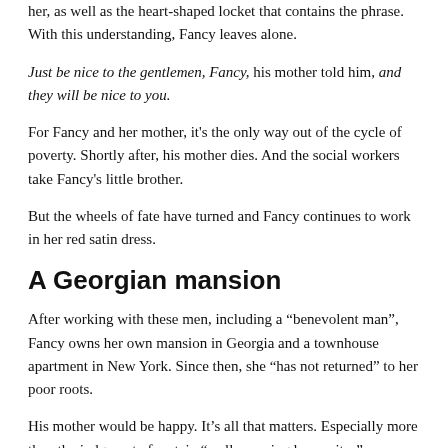her, as well as the heart-shaped locket that contains the phrase. With this understanding, Fancy leaves alone.
Just be nice to the gentlemen, Fancy, his mother told him, and they will be nice to you.
For Fancy and her mother, it's the only way out of the cycle of poverty. Shortly after, his mother dies. And the social workers take Fancy's little brother.
But the wheels of fate have turned and Fancy continues to work in her red satin dress.
A Georgian mansion
After working with these men, including a “benevolent man”, Fancy owns her own mansion in Georgia and a townhouse apartment in New York. Since then, she “has not returned” to her poor roots.
His mother would be happy. It’s all that matters. Especially more than the judgment of certain “well-meaning hypocrites”.